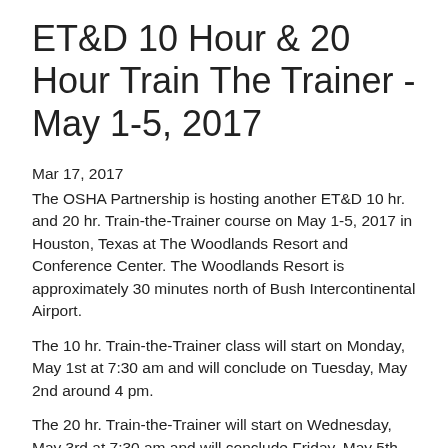ET&D 10 Hour & 20 Hour Train The Trainer - May 1-5, 2017
Mar 17, 2017
The OSHA Partnership is hosting another ET&D 10 hr. and 20 hr. Train-the-Trainer course on May 1-5, 2017 in Houston, Texas at The Woodlands Resort and Conference Center. The Woodlands Resort is approximately 30 minutes north of Bush Intercontinental Airport.
The 10 hr. Train-the-Trainer class will start on Monday, May 1st at 7:30 am and will conclude on Tuesday, May 2nd around 4 pm.
The 20 hr. Train-the-Trainer will start on Wednesday, May 3rd at 7:30 am and will conclude Friday, May 5th around 3 pm.